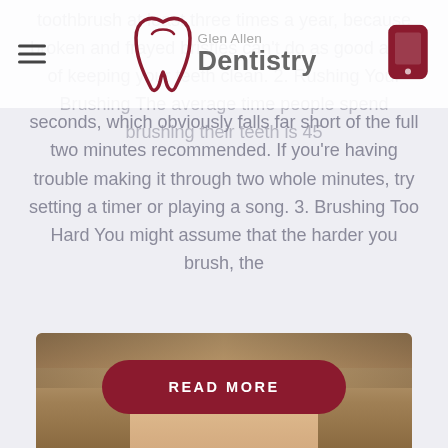Glen Allen Dentistry
toothbrush at least three times a year, because broken and frayed bristles can't do as good a job of keeping your teeth clean. 2. Rushing Your Brushing The average time people spend brushing their teeth is 45 seconds, which obviously falls far short of the full two minutes recommended. If you're having trouble making it through two whole minutes, try setting a timer or playing a song. 3. Brushing Too Hard You might assume that the harder you brush, the
READ MORE
[Figure (photo): Close-up photo of a woman's face from forehead to eyes, blonde hair, appears to be a dental patient or professional]